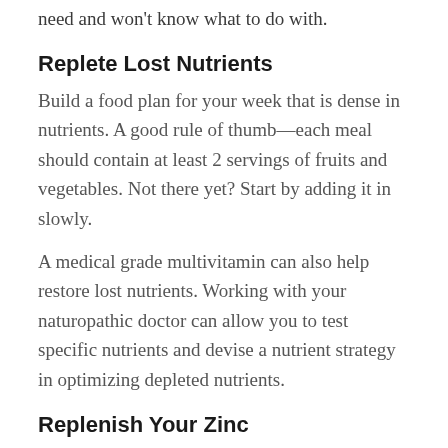need and won't know what to do with.
Replete Lost Nutrients
Build a food plan for your week that is dense in nutrients. A good rule of thumb—each meal should contain at least 2 servings of fruits and vegetables. Not there yet? Start by adding it in slowly.
A medical grade multivitamin can also help restore lost nutrients. Working with your naturopathic doctor can allow you to test specific nutrients and devise a nutrient strategy in optimizing depleted nutrients.
Replenish Your Zinc
Zinc is key to healthy skin. Add it in as a multiv...